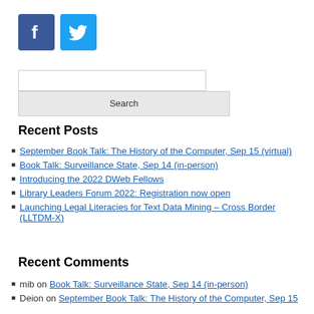[Figure (logo): Facebook logo blue square icon and Twitter logo blue square icon]
Search input box and Search button
Recent Posts
September Book Talk: The History of the Computer, Sep 15 (virtual)
Book Talk: Surveillance State, Sep 14 (in-person)
Introducing the 2022 DWeb Fellows
Library Leaders Forum 2022: Registration now open
Launching Legal Literacies for Text Data Mining – Cross Border (LLTDM-X)
Recent Comments
mib on Book Talk: Surveillance State, Sep 14 (in-person)
Deion on September Book Talk: The History of the Computer, Sep 15